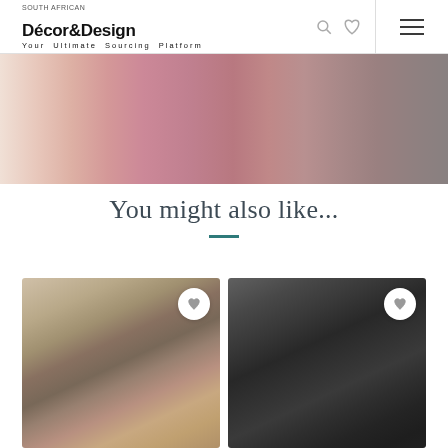Décor&Design — Your Ultimate Sourcing Platform
[Figure (photo): Blurred hero image strip showing pink/rose-toned furniture or product, fading from beige on the left to darker tones on the right]
You might also like...
[Figure (photo): Product thumbnail — warm-toned blurred room or furniture image with a white heart/favorite button in the top right corner]
[Figure (photo): Product thumbnail — dark charcoal/black toned furniture or sofa image with a white heart/favorite button in the top right corner]